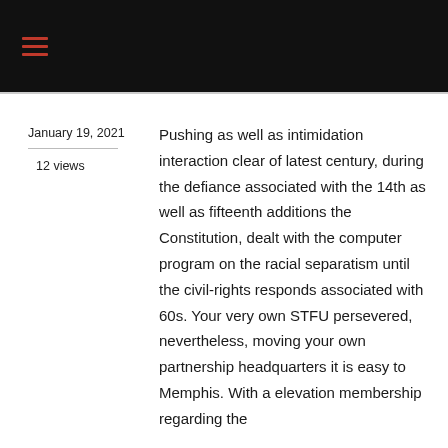January 19, 2021
12 views
Pushing as well as intimidation interaction clear of latest century, during the defiance associated with the 14th as well as fifteenth additions the Constitution, dealt with the computer program on the racial separatism until the civil-rights responds associated with 60s. Your very own STFU persevered, nevertheless, moving your own partnership headquarters it is easy to Memphis. With a elevation membership regarding the